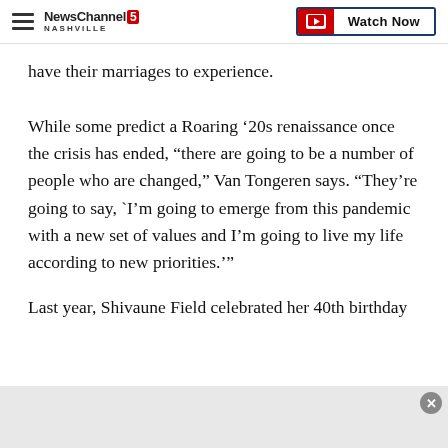NewsChannel 5 NASHVILLE | Watch Now
have their marriages to experience.
While some predict a Roaring ’20s renaissance once the crisis has ended, “there are going to be a number of people who are changed,” Van Tongeren says. “They’re going to say, `I’m going to emerge from this pandemic with a new set of values and I’m going to live my life according to new priorities.’”
Last year, Shivaune Field celebrated her 40th birthday